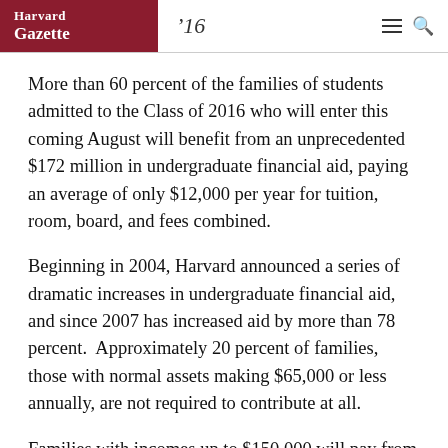Harvard Gazette '16
More than 60 percent of the families of students admitted to the Class of 2016 who will enter this coming August will benefit from an unprecedented $172 million in undergraduate financial aid, paying an average of only $12,000 per year for tuition, room, board, and fees combined.
Beginning in 2004, Harvard announced a series of dramatic increases in undergraduate financial aid, and since 2007 has increased aid by more than 78 percent.  Approximately 20 percent of families, those with normal assets making $65,000 or less annually, are not required to contribute at all.
Families with incomes up to $150,000 will pay from zero to 10 percent of their income, unless they have significant assets beyond income.  Depending on